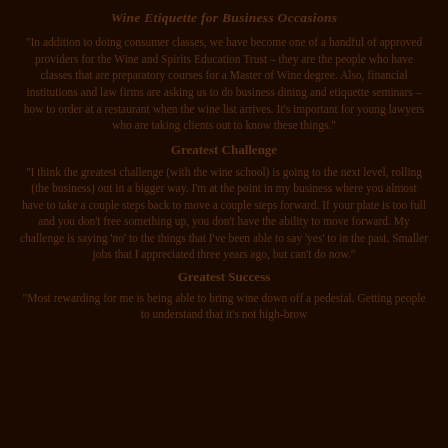Wine Etiquette for Business Occasions
"In addition to doing consumer classes, we have become one of a handful of approved providers for the Wine and Spirits Education Trust – they are the people who have classes that are preparatory courses for a Master of Wine degree. Also, financial institutions and law firms are asking us to do business dining and etiquette seminars – how to order at a restaurant when the wine list arrives. It's important for young lawyers who are taking clients out to know these things."
Greatest Challenge
"I think the greatest challenge (with the wine school) is going to the next level, rolling (the business) out in a bigger way. I'm at the point in my business where you almost have to take a couple steps back to move a couple steps forward. If your plate is too full and you don't free something up, you don't have the ability to move forward. My challenge is saying 'no' to the things that I've been able to say 'yes' to in the past. Smaller jobs that I appreciated three years ago, but can't do now."
Greatest Success
"Most rewarding for me is being able to bring wine down off a pedestal. Getting people to understand that it's not high-brow